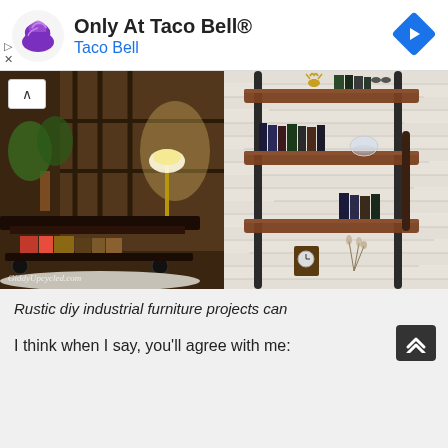[Figure (infographic): Taco Bell advertisement banner with purple Taco Bell logo on left, 'Only At Taco Bell®' title and 'Taco Bell' brand name in blue, blue diamond navigation icon on right, play and X controls on left side]
[Figure (photo): Two side-by-side photos: left shows a rustic dark wood coffee table on wheels with books underneath in a dim room with plant and lamp; right shows an industrial pipe and wood bookshelf against white brick wall with books, decor items including a golden deer figurine]
Rustic diy industrial furniture projects can
I think when I say, you'll agree with me: